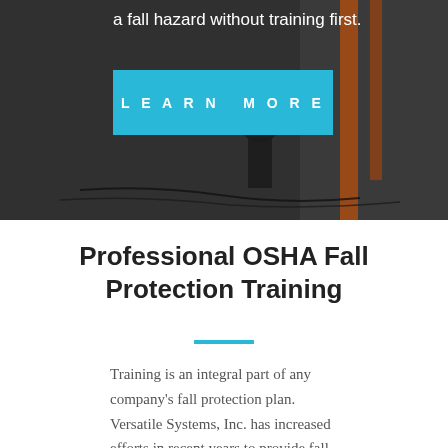[Figure (photo): Dark background photo of a worker near a ladder with cables on the ground, used as hero section background]
a fall hazard without training first.
LEARN MORE
Professional OSHA Fall Protection Training
Training is an integral part of any company's fall protection plan. Versatile Systems, Inc. has increased efforts in recent years to provide fall